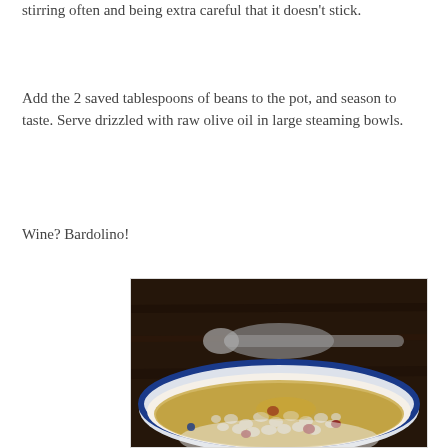stirring often and being extra careful that it doesn't stick.
Add the 2 saved tablespoons of beans to the pot, and season to taste. Serve drizzled with raw olive oil in large steaming bowls.
Wine? Bardolino!
[Figure (photo): A bowl of bean soup (white beans with a few red/kidney beans in a golden broth) served in a blue-rimmed white bowl, with a spoon resting in the background on a dark wooden surface.]